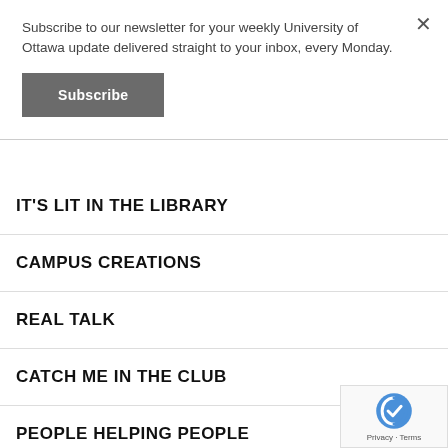Subscribe to our newsletter for your weekly University of Ottawa update delivered straight to your inbox, every Monday.
Subscribe
IT'S LIT IN THE LIBRARY
CAMPUS CREATIONS
REAL TALK
CATCH ME IN THE CLUB
PEOPLE HELPING PEOPLE
READY SET WOAH